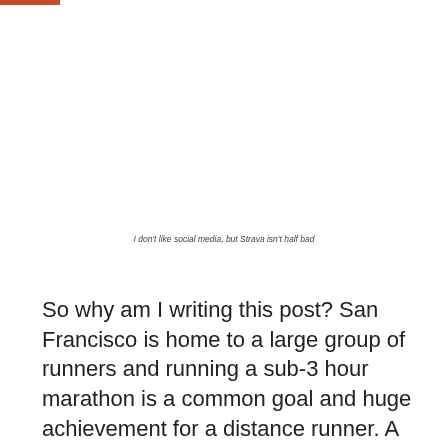I don't like social media, but Strava isn't half bad
So why am I writing this post? San Francisco is home to a large group of runners and running a sub-3 hour marathon is a common goal and huge achievement for a distance runner. A few weeks before my first marathon, I